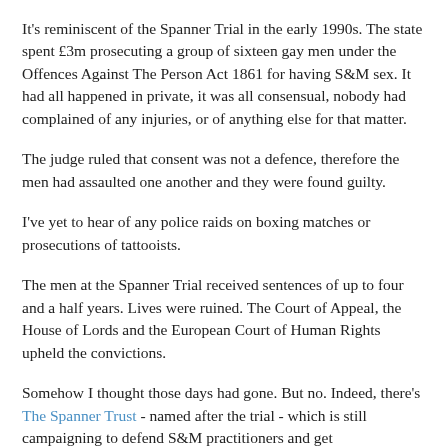It's reminiscent of the Spanner Trial in the early 1990s. The state spent £3m prosecuting a group of sixteen gay men under the Offences Against The Person Act 1861 for having S&M sex. It had all happened in private, it was all consensual, nobody had complained of any injuries, or of anything else for that matter.
The judge ruled that consent was not a defence, therefore the men had assaulted one another and they were found guilty.
I've yet to hear of any police raids on boxing matches or prosecutions of tattooists.
The men at the Spanner Trial received sentences of up to four and a half years. Lives were ruined. The Court of Appeal, the House of Lords and the European Court of Human Rights upheld the convictions.
Somehow I thought those days had gone. But no. Indeed, there's The Spanner Trust - named after the trial - which is still campaigning to defend S&M practitioners and get...